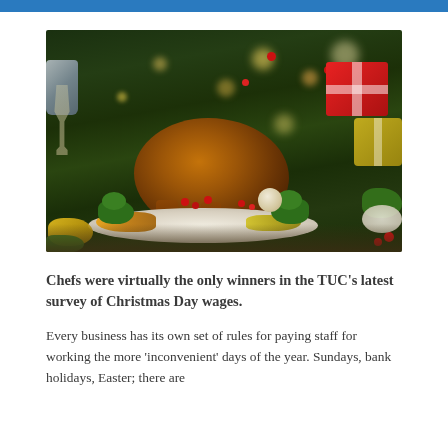[Figure (photo): A roasted turkey on a platter garnished with vegetables, berries, and broccoli, set on a festive Christmas table with a decorated Christmas tree, red gift boxes, candles, and bokeh lights in the background.]
Chefs were virtually the only winners in the TUC's latest survey of Christmas Day wages.
Every business has its own set of rules for paying staff for working the more 'inconvenient' days of the year. Sundays, bank holidays, Easter; there are